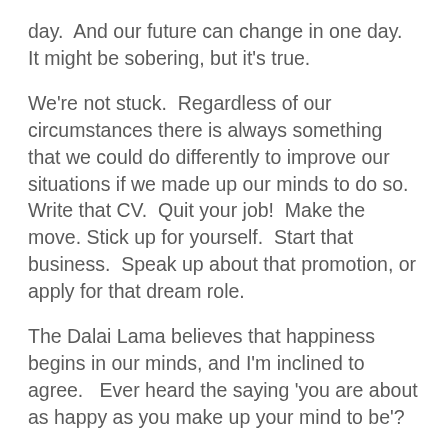day.  And our future can change in one day.  It might be sobering, but it's true.
We're not stuck.  Regardless of our circumstances there is always something that we could do differently to improve our situations if we made up our minds to do so.  Write that CV.  Quit your job!  Make the move.  Stick up for yourself.  Start that business.  Speak up about that promotion, or apply for that dream role.
The Dalai Lama believes that happiness begins in our minds, and I'm inclined to agree.  Ever heard the saying 'you are about as happy as you make up your mind to be'?
Well, what would happen if you kick-started a new story for yourself that started with 'One day I…'? Hypothesize the possibilities if the leap is too much for today.